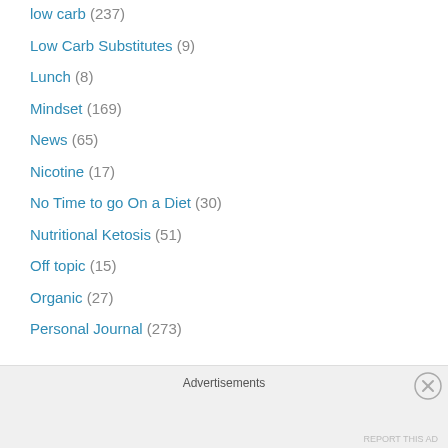low carb (237)
Low Carb Substitutes (9)
Lunch (8)
Mindset (169)
News (65)
Nicotine (17)
No Time to go On a Diet (30)
Nutritional Ketosis (51)
Off topic (15)
Organic (27)
Personal Journal (273)
Advertisements